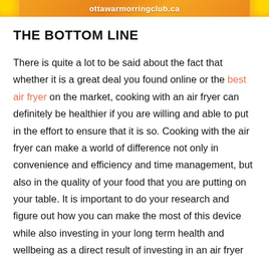ottawarmorringclub.ca
THE BOTTOM LINE
There is quite a lot to be said about the fact that whether it is a great deal you found online or the best air fryer on the market, cooking with an air fryer can definitely be healthier if you are willing and able to put in the effort to ensure that it is so. Cooking with the air fryer can make a world of difference not only in convenience and efficiency and time management, but also in the quality of your food that you are putting on your table. It is important to do your research and figure out how you can make the most of this device while also investing in your long term health and wellbeing as a direct result of investing in an air fryer